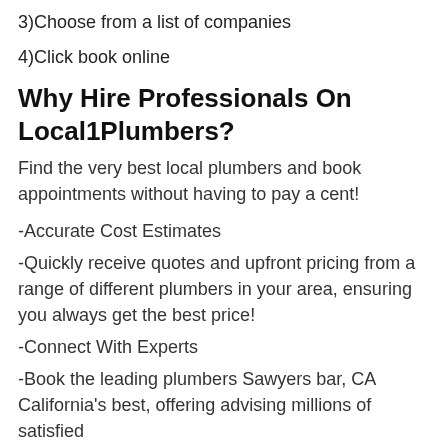3)Choose from a list of companies
4)Click book online
Why Hire Professionals On Local1Plumbers?
Find the very best local plumbers and book appointments without having to pay a cent!
-Accurate Cost Estimates
-Quickly receive quotes and upfront pricing from a range of different plumbers in your area, ensuring you always get the best price!
-Connect With Experts
-Book the leading plumbers Sawyers bar, CA California's best, offering advising millions of satisfied...